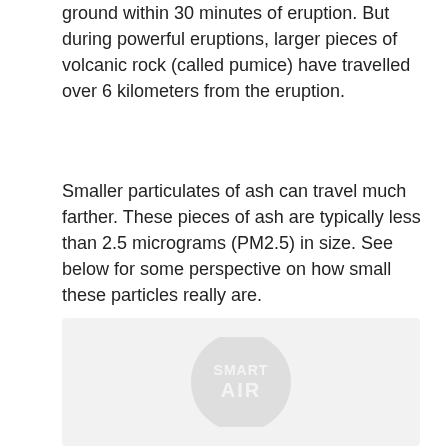ground within 30 minutes of eruption. But during powerful eruptions, larger pieces of volcanic rock (called pumice) have travelled over 6 kilometers from the eruption.
Smaller particulates of ash can travel much farther. These pieces of ash are typically less than 2.5 micrograms (PM2.5) in size. See below for some perspective on how small these particles really are.
[Figure (illustration): A light gray rectangular area containing a faint Smart Air logo watermark in the center-lower portion.]